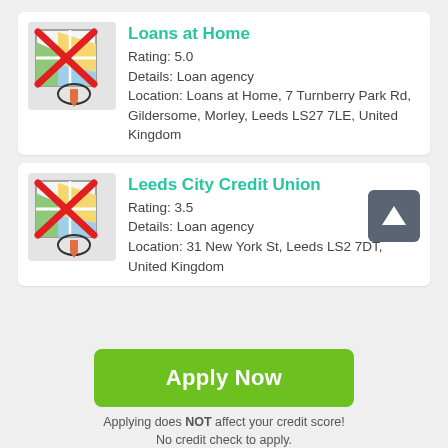[Figure (illustration): Map icon with red X cross overlay and a small pencil/pen icon at bottom, on light grey background — logo for Loans at Home]
Loans at Home
Rating: 5.0
Details: Loan agency
Location: Loans at Home, 7 Turnberry Park Rd, Gildersome, Morley, Leeds LS27 7LE, United Kingdom
[Figure (illustration): Map icon with red X cross overlay and a small pencil/pen icon at bottom, on light grey background — logo for Leeds City Credit Union]
Leeds City Credit Union
Rating: 3.5
Details: Loan agency
Location: 31 New York St, Leeds LS2 7DT, United Kingdom
Apply Now
Applying does NOT affect your credit score!
No credit check to apply.